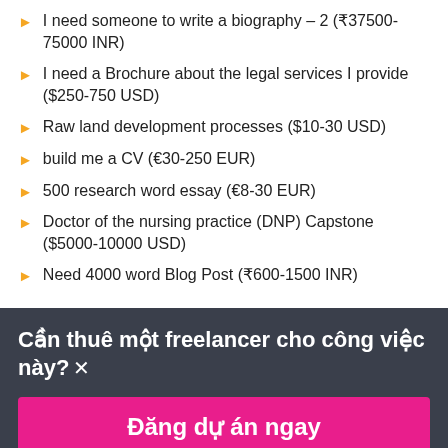I need someone to write a biography – 2 (₹37500-75000 INR)
I need a Brochure about the legal services I provide ($250-750 USD)
Raw land development processes ($10-30 USD)
build me a CV (€30-250 EUR)
500 research word essay (€8-30 EUR)
Doctor of the nursing practice (DNP) Capstone ($5000-10000 USD)
Need 4000 word Blog Post (₹600-1500 INR)
Cần thuê một freelancer cho công việc này? ×
Đăng dự án ngay